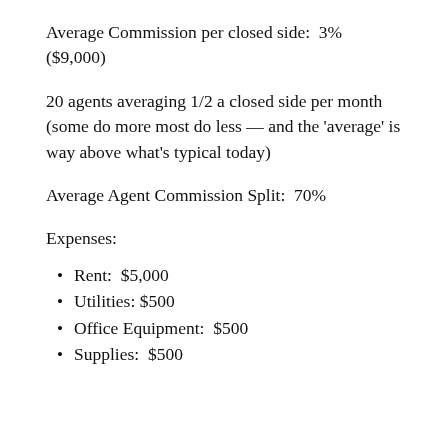Average Commission per closed side:  3% ($9,000)
20 agents averaging 1/2 a closed side per month (some do more most do less — and the 'average' is way above what's typical today)
Average Agent Commission Split:  70%
Expenses:
Rent:  $5,000
Utilities: $500
Office Equipment:  $500
Supplies:  $500